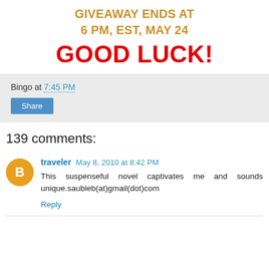GIVEAWAY ENDS AT
6 PM, EST, MAY 24
GOOD LUCK!
Bingo at 7:45 PM
Share
139 comments:
traveler  May 8, 2010 at 8:42 PM
This suspenseful novel captivates me and sounds unique.saubleb(at)gmail(dot)com
Reply